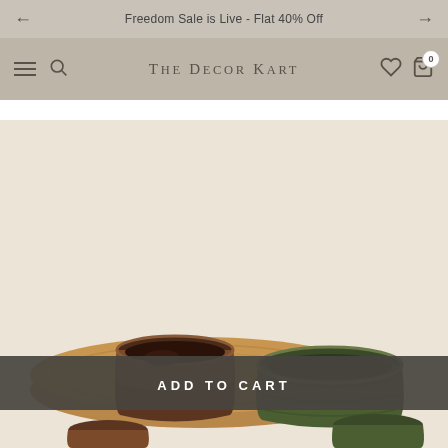Freedom Sale is Live - Flat 40% Off
[Figure (logo): THE DECOR KART logo in serif spaced caps]
[Figure (photo): Ceramic bowls and cups on a wooden tray against a warm beige background, e-commerce product photo]
ADD TO CART